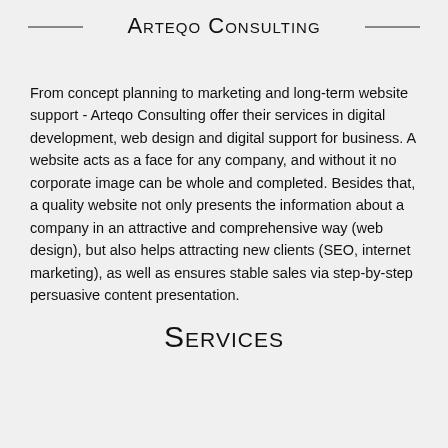Arteqo Consulting
From concept planning to marketing and long-term website support - Arteqo Consulting offer their services in digital development, web design and digital support for business. A website acts as a face for any company, and without it no corporate image can be whole and completed. Besides that, a quality website not only presents the information about a company in an attractive and comprehensive way (web design), but also helps attracting new clients (SEO, internet marketing), as well as ensures stable sales via step-by-step persuasive content presentation.
Services